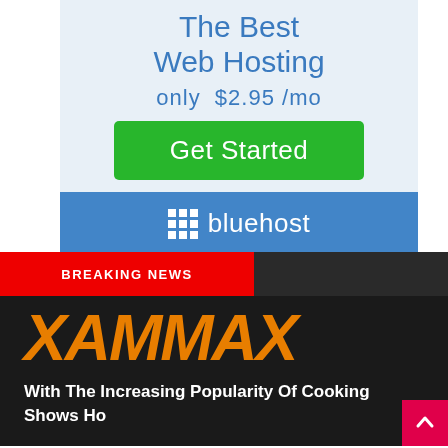[Figure (infographic): Bluehost web hosting advertisement banner showing 'The Best Web Hosting only $2.95/mo' with a green 'Get Started' button and blue Bluehost branding footer with grid logo]
[Figure (infographic): Breaking news banner for XAMMAX with orange bold italic XAMMAX logo on dark background and headline 'With The Increasing Popularity Of Cooking Shows Ho']